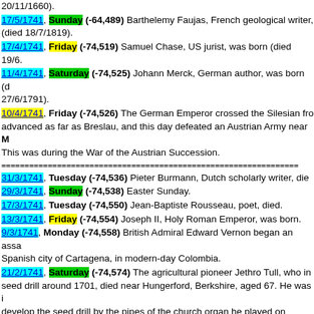20/11/1660).
17/5/1741, Sunday (-64,489) Barthelemy Faujas, French geological writer, (died 18/7/1819).
17/4/1741, Friday (-74,519) Samuel Chase, US jurist, was born (died 19/6...
11/4/1741, Saturday (-74,525) Johann Merck, German author, was born (d... 27/6/1791).
10/4/1741, Friday (-74,526) The German Emperor crossed the Silesian fro... advanced as far as Breslau, and this day defeated an Austrian Army near M... This was during the War of the Austrian Succession.
======================================================
31/3/1741, Tuesday (-74,536) Pieter Burmann, Dutch scholarly writer, die...
29/3/1741, Sunday (-74,538) Easter Sunday.
17/3/1741, Tuesday (-74,550) Jean-Baptiste Rousseau, poet, died.
13/3/1741, Friday (-74,554) Joseph II, Holy Roman Emperor, was born.
9/3/1741, Monday (-74,558) British Admiral Edward Vernon began an assa... Spanish city of Cartagena, in modern-day Colombia.
21/2/1741, Saturday (-74,574) The agricultural pioneer Jethro Tull, who in... seed drill around 1701, died near Hungerford, Berkshire, aged 67. He was i... develop the seed drill by the pipes of the church organ he played on Sunday... pioneered crop rotation, developing a new hoe for planting turnips between... crops; turnips meant winter feed, so more manure, so more fertile soil that e... a whole year fallow to recover.
16/2/1741, Monday (-74,579) Benjamin Franklin, USA, began publication... General Magazine.
13/2/1741, Friday (-74,582) In the House of Commons, Sir Robert Walpol... phrase i¿½Balance of Poweri¿½ to describe Britaini¿½s approach to foreig...
8/2/1741, Sunday (-74,587) Noirse and Prine still bold out but the Provi...